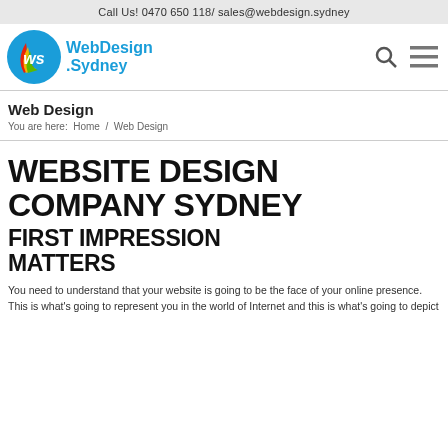Call Us! 0470 650 118/ sales@webdesign.sydney
[Figure (logo): WebDesign.Sydney logo with circular blue and multicolor badge icon and blue text]
Web Design
You are here:  Home  /  Web Design
WEBSITE DESIGN COMPANY SYDNEY
FIRST IMPRESSION MATTERS
You need to understand that your website is going to be the face of your online presence. This is what's going to represent you in the world of Internet and this is what's going to depict